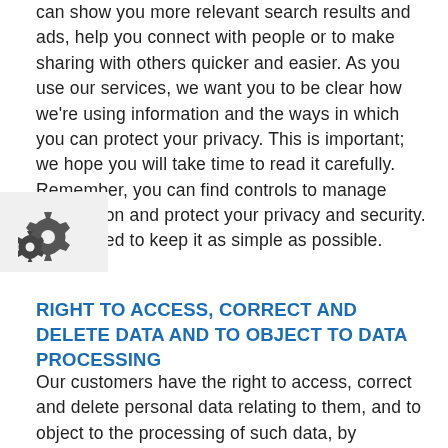can show you more relevant search results and ads, help you connect with people or to make sharing with others quicker and easier. As you use our services, we want you to be clear how we're using information and the ways in which you can protect your privacy. This is important; we hope you will take time to read it carefully. Remember, you can find controls to manage information and protect your privacy and security. We've tried to keep it as simple as possible.
[Figure (illustration): Gear/settings icon consisting of two overlapping gear shapes in dark gray, on a light gray background, partially obscuring the text]
RIGHT TO ACCESS, CORRECT AND DELETE DATA AND TO OBJECT TO DATA PROCESSING
Our customers have the right to access, correct and delete personal data relating to them, and to object to the processing of such data, by addressing a written request, at any time. The Company makes every effort to put in place suitable precautions to safeguard the security and privacy of personal data, and to prevent it from being altered, damaged, deleted or accessed